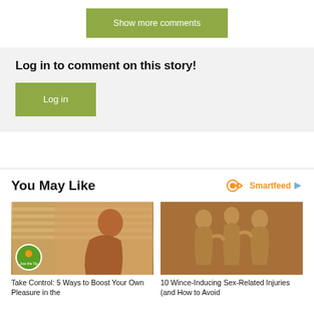Show more comments
Log in to comment on this story!
Log in
You May Like
[Figure (logo): Smartfeed logo with infinity-like orange icon and play button arrow]
[Figure (photo): Woman sitting near window blinds]
Take Control: 5 Ways to Boost Your Own Pleasure in the
[Figure (photo): Ancient stone temple carvings of figures]
10 Wince-Inducing Sex-Related Injuries (and How to Avoid